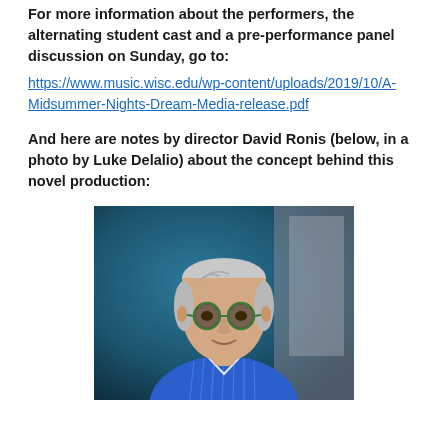For more information about the performers, the alternating student cast and a pre-performance panel discussion on Sunday, go to:
https://www.music.wisc.edu/wp-content/uploads/2019/10/A-Midsummer-Nights-Dream-Media-release.pdf
And here are notes by director David Ronis (below, in a photo by Luke Delalio) about the concept behind this novel production:
[Figure (photo): Portrait photo of director David Ronis, a middle-aged man with short gray hair wearing round glasses with green frames and a blue striped button-up shirt, smiling slightly, photographed by Luke Delalio against a blurred dark teal background.]